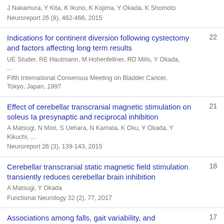J Nakamura, Y Kita, K Ikuno, K Kojima, Y Okada, K Shomoto
Neuroreport 26 (8), 462-466, 2015
Indications for continent diversion following cystectomy and factors affecting long term results
UE Studer, RE Hautmann, M Hohenfellner, RD Mills, Y Okada, ...
Fifth International Consensus Meeting on Bladder Cancer, Tokyo, Japan, 1997
22
Effect of cerebellar transcranial magnetic stimulation on soleus Ia presynaptic and reciprocal inhibition
A Matsugi, N Mori, S Uehara, N Kamata, K Oku, Y Okada, Y Kikuchi, ...
Neuroreport 26 (3), 139-143, 2015
21
Cerebellar transcranial static magnetic field stimulation transiently reduces cerebellar brain inhibition
A Matsugi, Y Okada
Functional Neurology 32 (2), 77, 2017
18
Associations among falls, gait variability, and
17